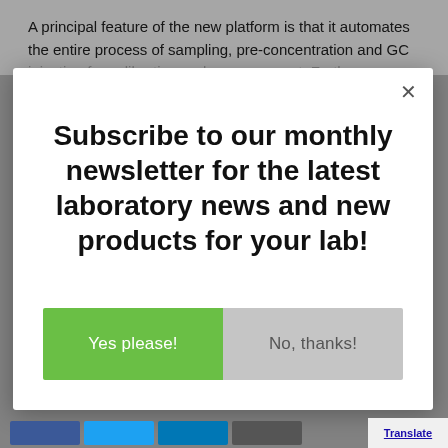A principal feature of the new platform is that it automates the entire process of sampling, pre-concentration and GC injection for calibration and measurement. Furthermore, this...
Subscribe to our monthly newsletter for the latest laboratory news and new products for your lab!
Yes please!
No, thanks!